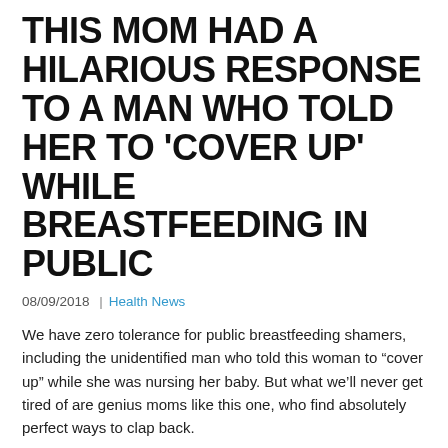THIS MOM HAD A HILARIOUS RESPONSE TO A MAN WHO TOLD HER TO 'COVER UP' WHILE BREASTFEEDING IN PUBLIC
08/09/2018  |  Health News
We have zero tolerance for public breastfeeding shamers, including the unidentified man who told this woman to “cover up” while she was nursing her baby. But what we’ll never get tired of are genius moms like this one, who find absolutely perfect ways to clap back.
A friend’s daughter-in-law was told to “cover up” while feeding her baby, so she did!? I’ve never met her, but I think...
This mom heard “cover up” and thought, if you can’t beat ’em,